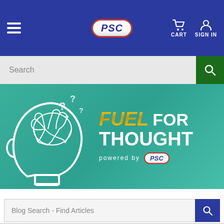[Figure (screenshot): PSC website header navigation bar with hamburger menu, PSC logo badge, cart icon and sign in icon on blue background]
[Figure (screenshot): Search bar with text field showing 'Search' placeholder and green search button]
[Figure (illustration): Hero banner with teal background showing a head silhouette with brain and question marks on left, and 'FUEL FOR THOUGHT powered by PSC' text on right]
Blog Search - Find Articles